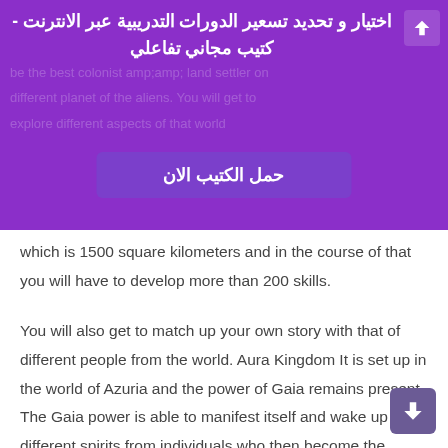اختيار و تحديد تسعير الدورات التدريبية عبر الانترنت - كتيب مجاني تفاعلي
حمل الكتيب الان
which is 1500 square kilometers and in the course of that you will have to develop more than 200 skills.
You will also get to match up your own story with that of different people from the world. Aura Kingdom It is set up in the world of Azuria and the power of Gaia remains present. The Gaia power is able to manifest itself and wake up different spirits from individuals who then become the envoys that will finally shape fete of the world.